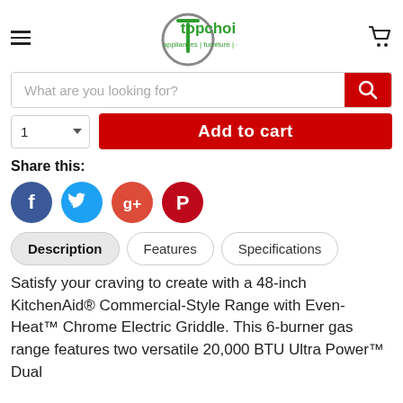[Figure (logo): Top Choice Appliances logo with circle-T icon and tagline: appliances | furniture | electronics]
What are you looking for?
Add to cart
Share this:
[Figure (illustration): Social media share icons: Facebook (blue), Twitter (light blue), Google+ (red-orange), Pinterest (red)]
Description | Features | Specifications (tab navigation)
Satisfy your craving to create with a 48-inch KitchenAid® Commercial-Style Range with Even-Heat™ Chrome Electric Griddle. This 6-burner gas range features two versatile 20,000 BTU Ultra Power™ Dual